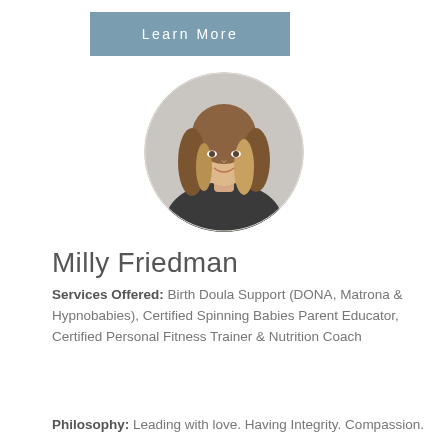Learn More
[Figure (photo): Circular profile photo of Milly Friedman, a woman with long blonde highlighted hair, smiling, wearing a dark jacket, with a light grey blurred background.]
Milly Friedman
Services Offered: Birth Doula Support (DONA, Matrona & Hypnobabies), Certified Spinning Babies Parent Educator, Certified Personal Fitness Trainer & Nutrition Coach
Philosophy: Leading with love. Having Integrity. Compassion.